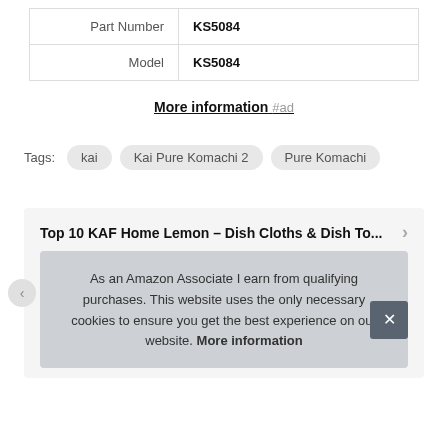| Part Number | KS5084 |
| Model | KS5084 |
More information #ad
Tags: kai  Kai Pure Komachi 2  Pure Komachi
Top 10 KAF Home Lemon – Dish Cloths & Dish To...
As an Amazon Associate I earn from qualifying purchases. This website uses the only necessary cookies to ensure you get the best experience on our website. More information